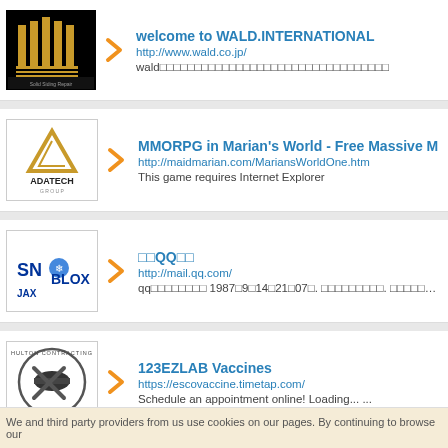welcome to WALD.INTERNATIONAL | http://www.wald.co.jp/ | wald□□□□□□□□□□□□□□□□□□□□□□□□□□□□□□□□□
MMORPG in Marian's World - Free Massive M | http://maidmarian.com/MariansWorldOne.htm | This game requires Internet Explorer
□□QQ□□ | http://mail.qq.com/ | qq□□□□□□□□ 1987□9□14□21□07□. □□□□□□□□□□. □□□□□□□ "□□□□□□□□□□□"
123EZLAB Vaccines | https://escovaccine.timetap.com/ | Schedule an appointment online! Loading... ...
We and third party providers from us use cookies on our pages. By continuing to browse our